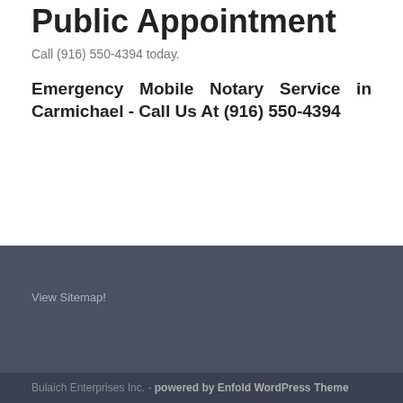Public Appointment
Call (916) 550-4394 today.
Emergency Mobile Notary Service in Carmichael - Call Us At (916) 550-4394
View Sitemap!
Bulaich Enterprises Inc. - powered by Enfold WordPress Theme